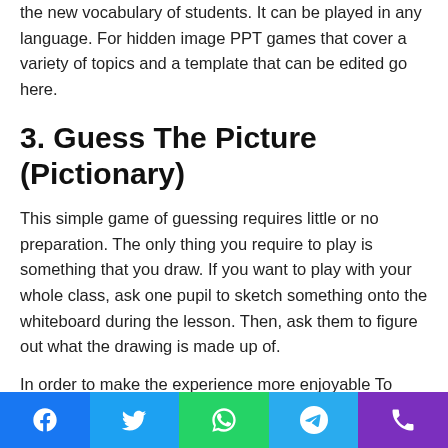the new vocabulary of students. It can be played in any language. For hidden image PPT games that cover a variety of topics and a template that can be edited go here.
3. Guess The Picture (Pictionary)
This simple game of guessing requires little or no preparation. The only thing you require to play is something that you draw. If you want to play with your whole class, ask one pupil to sketch something onto the whiteboard during the lesson. Then, ask them to figure out what the drawing is made up of.
In order to make the experience more enjoyable To make it more enjoyable, split the class into three or two teams. Each team is given about 30 seconds to make as many guesses as they are able to. The game is lots of fun, and children